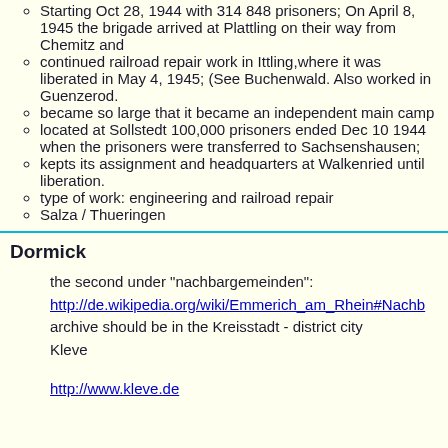Starting Oct 28, 1944 with 314-848 prisoners; On April 8, 1945 the brigade arrived at Plattling on their way from Chemitz and
continued railroad repair work in Ittling,where it was liberated in May 4, 1945; (See Buchenwald. Also worked in Guenzerod.
became so large that it became an independent main camp
located at Sollstedt 100,000 prisoners ended Dec 10 1944 when the prisoners were transferred to Sachsenshausen;
kepts its assignment and headquarters at Walkenried until liberation.
type of work: engineering and railroad repair
Salza / Thueringen
Dormick
the second under "nachbargemeinden":
http://de.wikipedia.org/wiki/Emmerich_am_Rhein#Nachb
archive should be in the Kreisstadt - district city Kleve
http://www.kleve.de